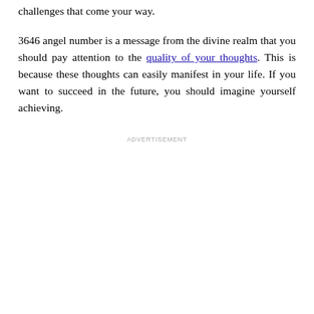challenges that come your way.
3646 angel number is a message from the divine realm that you should pay attention to the quality of your thoughts. This is because these thoughts can easily manifest in your life. If you want to succeed in the future, you should imagine yourself achieving.
ADVERTISEMENT